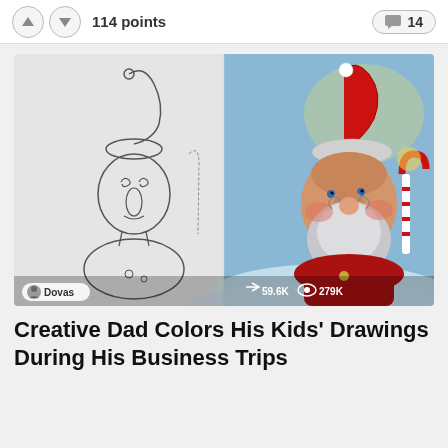114 points   14
[Figure (illustration): Side-by-side comparison: left side shows a child's pencil sketch of Santa Claus with spiral eyes, drooping hat, and simple lines; right side shows a detailed colored-pencil rendering of the same Santa with red suit, white beard, rosy cheeks, and a candy cane in background. Author badge 'Dovas' and stats '59.6K shares, 279K views' at bottom.]
Creative Dad Colors His Kids' Drawings During His Business Trips